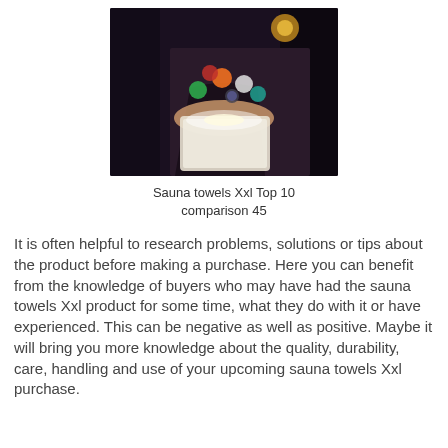[Figure (photo): Person holding a tablet device with glowing colorful app icons floating above it in a dark setting]
Sauna towels Xxl Top 10 comparison 45
It is often helpful to research problems, solutions or tips about the product before making a purchase. Here you can benefit from the knowledge of buyers who may have had the sauna towels Xxl product for some time, what they do with it or have experienced. This can be negative as well as positive. Maybe it will bring you more knowledge about the quality, durability, care, handling and use of your upcoming sauna towels Xxl purchase.